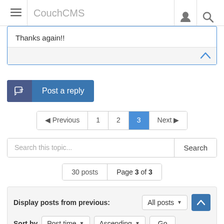CouchCMS
Thanks again!!
Post a reply
◀ Previous  1  2  3  Next ▶
Search this topic...  Search
30 posts  Page 3 of 3
Display posts from previous: All posts ▼  Sort by Post time ▼ Ascending ▼ Go